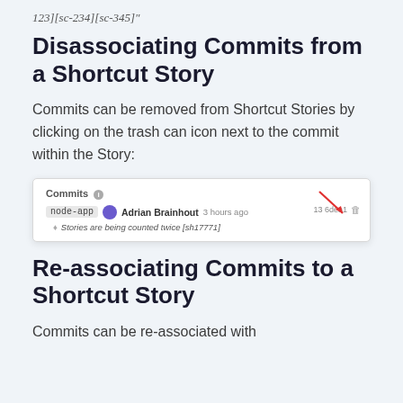123][sc-234][sc-345]"
Disassociating Commits from a Shortcut Story
Commits can be removed from Shortcut Stories by clicking on the trash can icon next to the commit within the Story:
[Figure (screenshot): Screenshot of a Commits UI panel showing a commit by Adrian Brainhout from 3 hours ago on node-app, with message 'Stories are being counted twice [sh17771]', and a red arrow pointing to a trash icon on the right side.]
Re-associating Commits to a Shortcut Story
Commits can be re-associated with